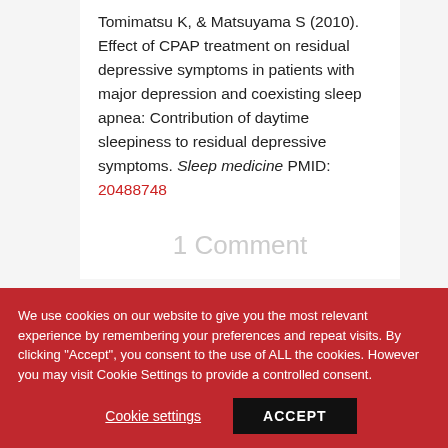Tomimatsu K, & Matsuyama S (2010). Effect of CPAP treatment on residual depressive symptoms in patients with major depression and coexisting sleep apnea: Contribution of daytime sleepiness to residual depressive symptoms. Sleep medicine PMID: 20488748
1 Comment
We use cookies on our website to give you the most relevant experience by remembering your preferences and repeat visits. By clicking "Accept", you consent to the use of ALL the cookies. However you may visit Cookie Settings to provide a controlled consent.